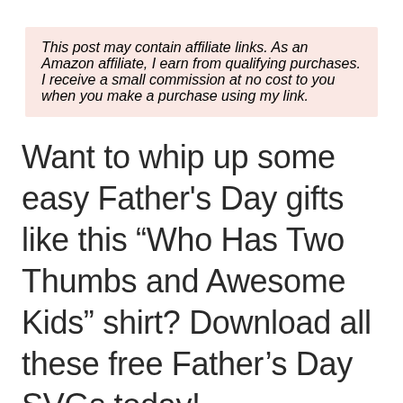This post may contain affiliate links. As an Amazon affiliate, I earn from qualifying purchases. I receive a small commission at no cost to you when you make a purchase using my link.
Want to whip up some easy Father's Day gifts like this “Who Has Two Thumbs and Awesome Kids” shirt? Download all these free Father’s Day SVGs today!